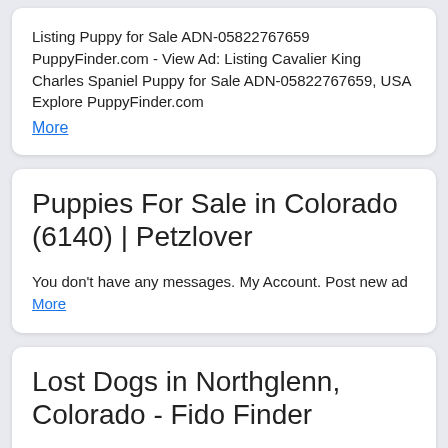Listing Puppy for Sale ADN-05822767659 PuppyFinder.com - View Ad: Listing Cavalier King Charles Spaniel Puppy for Sale ADN-05822767659, USA Explore PuppyFinder.com More
Puppies For Sale in Colorado (6140) | Petzlover
You don't have any messages. My Account. Post new ad More
Lost Dogs in Northglenn, Colorado - Fido Finder
Lost dogs in Northglenn, Colorado. Search the